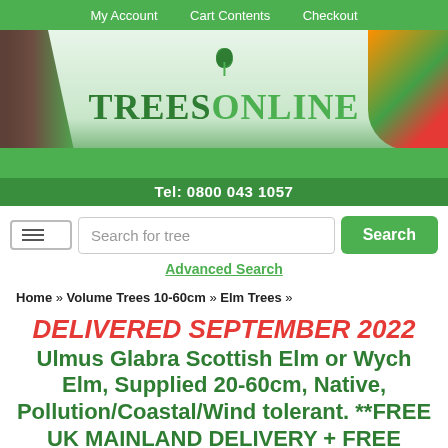My Account   Cart Contents   Checkout
[Figure (logo): TreesOnline banner with green leaf logo, tree imagery on left, fruit on right, green background with grass]
Tel: 0800 043 1057
Search for tree [Search button] Advanced Search
Home » Volume Trees 10-60cm » Elm Trees »
DELIVERED SEPTEMBER 2022 Ulmus Glabra Scottish Elm or Wych Elm, Supplied 20-60cm, Native, Pollution/Coastal/Wind tolerant. **FREE UK MAINLAND DELIVERY + FREE 100% TREE